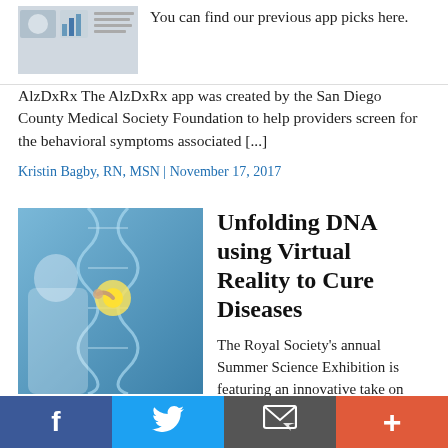[Figure (photo): Small thumbnail image of medical/app related content with bar chart graphic]
You can find our previous app picks here. AlzDxRx The AlzDxRx app was created by the San Diego County Medical Society Foundation to help providers screen for the behavioral symptoms associated [...]
Kristin Bagby, RN, MSN | November 17, 2017
[Figure (photo): Photo of a medical professional in white coat touching a glowing DNA double helix structure with blue background]
Unfolding DNA using Virtual Reality to Cure Diseases
The Royal Society's annual Summer Science Exhibition is featuring an innovative take on virtual reality (VR) this year - using VR to study the elaborate structure of the genome. Designed through a collaboration between the University of London and Universita di Napoli, the project's stated goal is to better under underlying genetic causes leading to [...]
Facebook | Twitter | Email | Plus